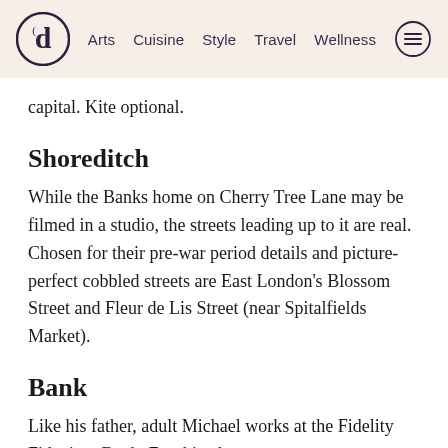Arts  Cuisine  Style  Travel  Wellness
capital. Kite optional.
Shoreditch
While the Banks home on Cherry Tree Lane may be filmed in a studio, the streets leading up to it are real. Chosen for their pre-war period details and picture-perfect cobbled streets are East London's Blossom Street and Fleur de Lis Street (near Spitalfields Market).
Bank
Like his father, adult Michael works at the Fidelity Fiduciary Bank. For this, the team set